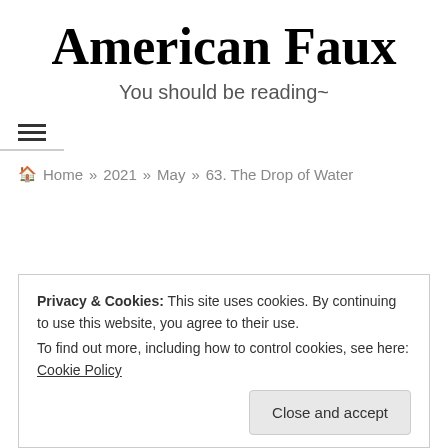American Faux
You should be reading~
≡
🏠 Home » 2021 » May » 63. The Drop of Water
Privacy & Cookies: This site uses cookies. By continuing to use this website, you agree to their use.
To find out more, including how to control cookies, see here: Cookie Policy
Close and accept